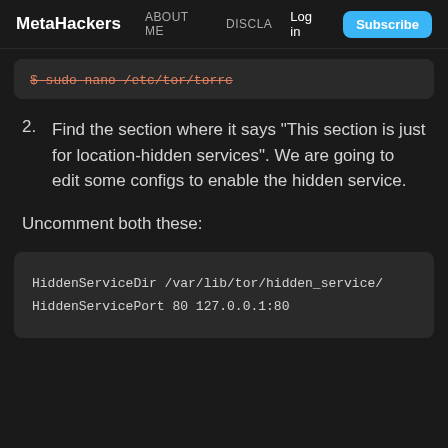MetaHackers  ABOUT ME  DISCLA  Log in  Subscribe
[Figure (screenshot): Dark terminal code block showing: $ sudo nano /etc/tor/torrc with strikethrough orange text]
2.  Find the section where it says "This section is just for location-hidden services". We are going to edit some configs to enable the hidden service.
Uncomment both these:
[Figure (screenshot): Dark code block showing: HiddenServiceDir /var/lib/tor/hidden_service/ and HiddenServicePort 80 127.0.0.1:80]